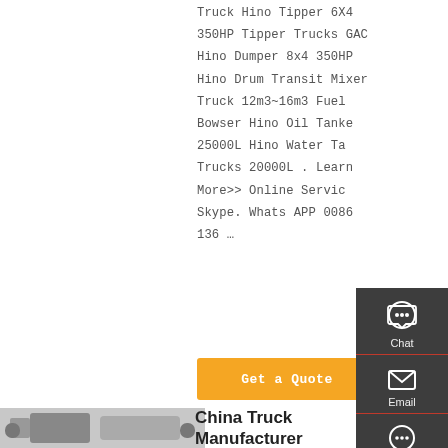Truck Hino Tipper 6X4 350HP Tipper Trucks GAC Hino Dumper 8x4 350HP Hino Drum Transit Mixer Truck 12m3~16m3 Fuel Bowser Hino Oil Tanker 25000L Hino Water Tanker Trucks 20000L . Learn More>> Online Service Skype. Whats APP 0086 136 …
[Figure (other): Orange 'Get a Quote' button]
[Figure (other): Side panel with Chat, Email, Contact, Top navigation icons on dark background]
[Figure (photo): Bottom product image of a truck/vehicle]
China Truck Manufacturer